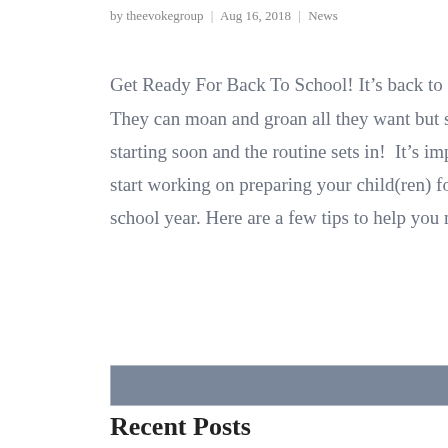by theevokegroup | Aug 16, 2018 | News
Get Ready For Back To School! It’s back to school! They can moan and groan all they want but school is starting soon and the routine sets in!  It’s important to start working on preparing your child(ren) for the school year. Here are a few tips to help you make…
Recent Posts